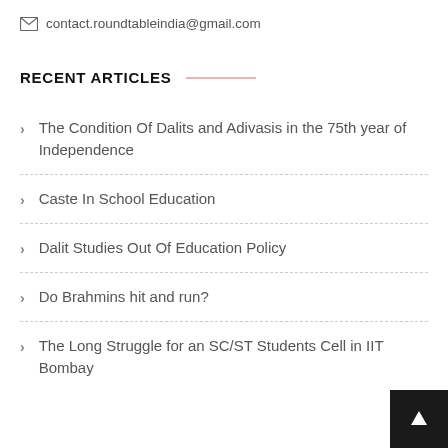contact.roundtableindia@gmail.com
RECENT ARTICLES
The Condition Of Dalits and Adivasis in the 75th year of Independence
Caste In School Education
Dalit Studies Out Of Education Policy
Do Brahmins hit and run?
The Long Struggle for an SC/ST Students Cell in IIT Bombay